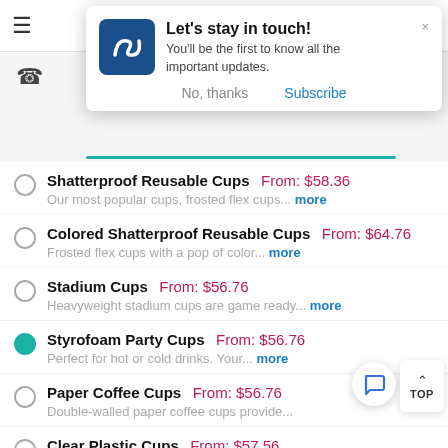≡ [hamburger menu] [phone icon] [search bar]
[Figure (screenshot): Notification popup with logo: 'Let's stay in touch! You'll be the first to know all the important updates.' with 'No, thanks' and 'Subscribe' buttons]
Shatterproof Reusable Cups  From: $58.36  Our most popular cups, frosted flex cups... more
Colored Shatterproof Reusable Cups  From: $64.76  Frosted flex cups with a pop of color... more
Stadium Cups  From: $56.76  Heavyweight stadium cups are game ready... more
Styrofoam Party Cups  From: $56.76  Perfect for hot or cold drinks. Your... more
Paper Coffee Cups  From: $56.76  Double-walled paper coffee cups provide...
Clear Plastic Cups  From: $57.56